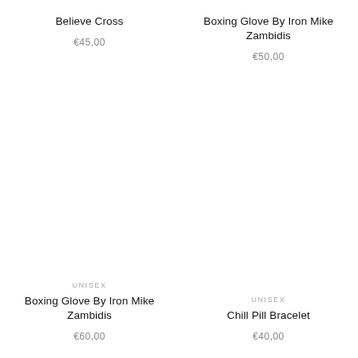Believe Cross
€45,00
Boxing Glove By Iron Mike Zambidis
€50,00
UNISEX
Boxing Glove By Iron Mike Zambidis
€60,00
UNISEX
Chill Pill Bracelet
€40,00